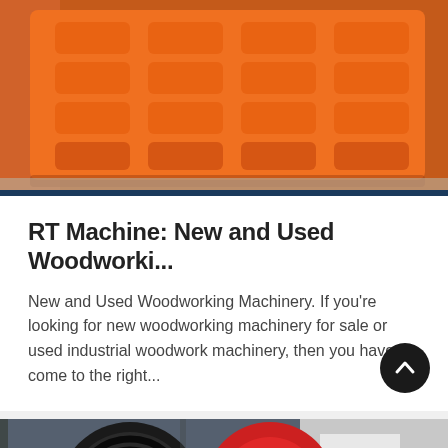[Figure (photo): Orange industrial jaw crusher plate or grid component with rectangular cutouts arranged in a 4x5 pattern, photographed in an industrial setting with orange machinery in the background]
RT Machine: New and Used Woodworki...
New and Used Woodworking Machinery. If you're looking for new woodworking machinery for sale or used industrial woodwork machinery, then you have come to the right...
[Figure (photo): Industrial machinery close-up showing a large black pulley/wheel with grooves and a red flywheel, photographed in an industrial facility]